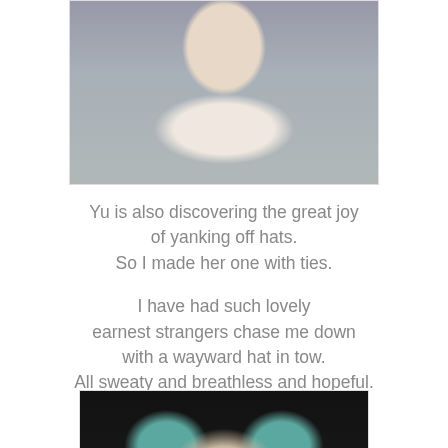[Figure (photo): Photo of a baby in a hooded outfit crawling on a gray surface, viewed from above]
Yu is also discovering the great joy of yanking off hats.
So I made her one with ties.

I have had such lovely earnest strangers chase me down with a wayward hat in tow.
All sweaty and breathless and hopeful.
[Figure (photo): Photo of a baby wearing a white hooded hat with teal ear accents, smiling, against a dark background]